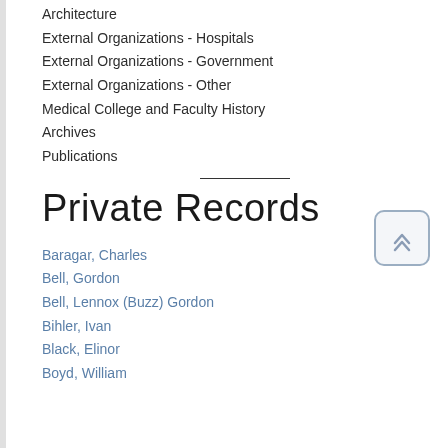Architecture
External Organizations - Hospitals
External Organizations - Government
External Organizations - Other
Medical College and Faculty History
Archives
Publications
Private Records
Baragar, Charles
Bell, Gordon
Bell, Lennox (Buzz) Gordon
Bihler, Ivan
Black, Elinor
Boyd, William